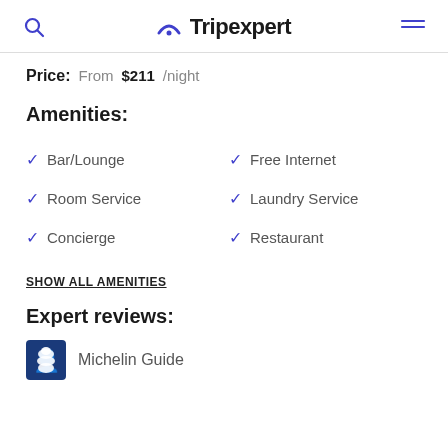Tripexpert
Price: From $211 /night
Amenities:
Bar/Lounge
Free Internet
Room Service
Laundry Service
Concierge
Restaurant
SHOW ALL AMENITIES
Expert reviews:
Michelin Guide